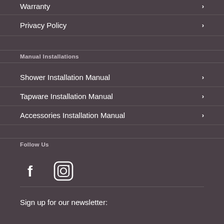Warranty
Privacy Policy
Manual Installations
Shower Installation Manual
Tapware Installation Manual
Accessories Installation Manual
Follow Us
[Figure (illustration): Facebook and Instagram social media icons displayed as white icons on dark background]
Sign up for our newsletter: